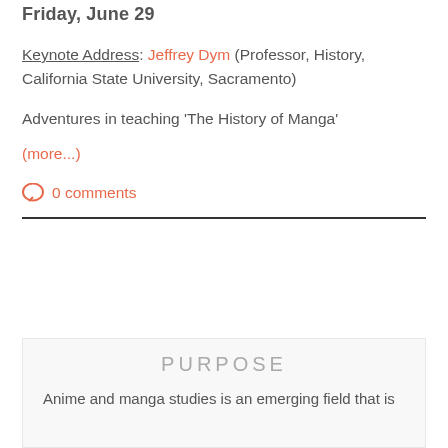Friday, June 29
Keynote Address: Jeffrey Dym (Professor, History, California State University, Sacramento)
Adventures in teaching ‘The History of Manga’
(more...)
0 comments
PURPOSE
Anime and manga studies is an emerging field that is